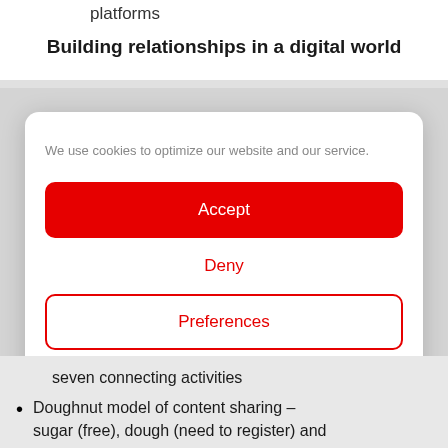platforms
Building relationships in a digital world
We use cookies to optimize our website and our service.
Accept
Deny
Preferences
Legal Information   Privacy Statement
seven connecting activities
Doughnut model of content sharing – sugar (free), dough (need to register) and